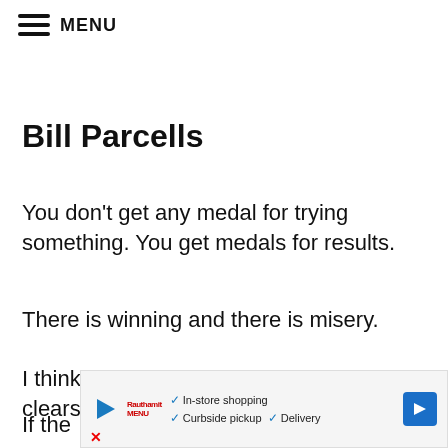≡ MENU
Bill Parcells
You don’t get any medal for trying something. You get medals for results.
There is winning and there is misery.
I think confrontation is healthy because it clears the air very quickly.
If the
[Figure (other): Advertisement banner with play button, logo, checkmarks for In-store shopping, Curbside pickup, Delivery, and a blue arrow navigation button]